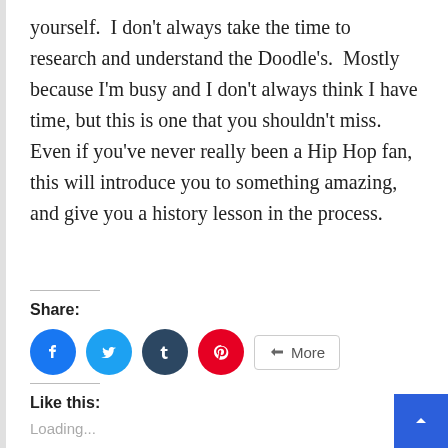yourself.  I don't always take the time to research and understand the Doodle's.  Mostly because I'm busy and I don't always think I have time, but this is one that you shouldn't miss.  Even if you've never really been a Hip Hop fan, this will introduce you to something amazing, and give you a history lesson in the process.
Share:
[Figure (infographic): Social share buttons: Facebook (blue circle), Twitter (light blue circle), Tumblr (dark teal circle), Pinterest (red circle), and a More button]
Like this:
Loading...